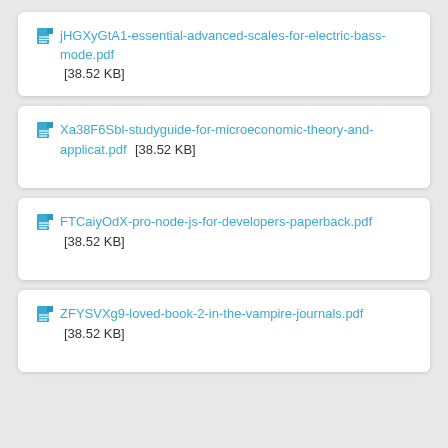jHGXyGtA1-essential-advanced-scales-for-electric-bass-mode.pdf [38.52 KB]
Xa38F6Sbl-studyguide-for-microeconomic-theory-and-applicat.pdf [38.52 KB]
FTCaiyOdX-pro-node-js-for-developers-paperback.pdf [38.52 KB]
ZFYSVXg9-loved-book-2-in-the-vampire-journals.pdf [38.52 KB]